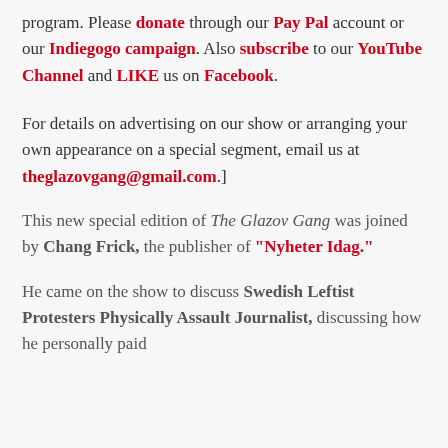program. Please donate through our Pay Pal account or our Indiegogo campaign. Also subscribe to our YouTube Channel and LIKE us on Facebook.
For details on advertising on our show or arranging your own appearance on a special segment, email us at theglazovgang@gmail.com.]
This new special edition of The Glazov Gang was joined by Chang Frick, the publisher of "Nyheter Idag."
He came on the show to discuss Swedish Leftist Protesters Physically Assault Journalist, discussing how he personally paid